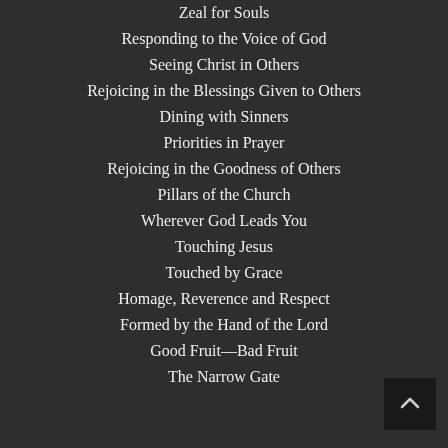Zeal for Souls
Responding to the Voice of God
Seeing Christ in Others
Rejoicing in the Blessings Given to Others
Dining with Sinners
Priorities in Prayer
Rejoicing in the Goodness of Others
Pillars of the Church
Wherever God Leads You
Touching Jesus
Touched by Grace
Homage, Reverence and Respect
Formed by the Hand of the Lord
Good Fruit—Bad Fruit
The Narrow Gate